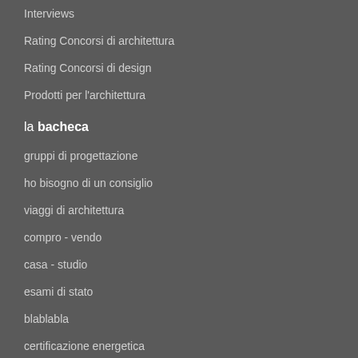Interviews
Rating Concorsi di architettura
Rating Concorsi di design
Prodotti per l'architettura
la bacheca
gruppi di progettazione
ho bisogno di un consiglio
viaggi di architettura
compro - vendo
casa - studio
esami di stato
blablabla
certificazione energetica
professione e fisco
i software
forum CAD
lezioni di AutoCAD on-line